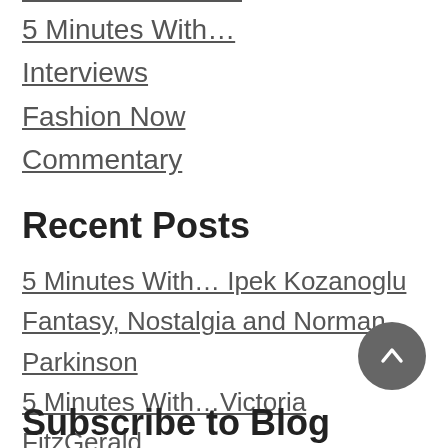5 Minutes With…
Interviews
Fashion Now
Commentary
Recent Posts
5 Minutes With… Ipek Kozanoglu
Fantasy, Nostalgia and Norman Parkinson
5 Minutes With…Victoria FitzGerald
5 Minutes With…Rosie Dyer
5 Minutes With…Megan Stevenson
Subscribe to Blog